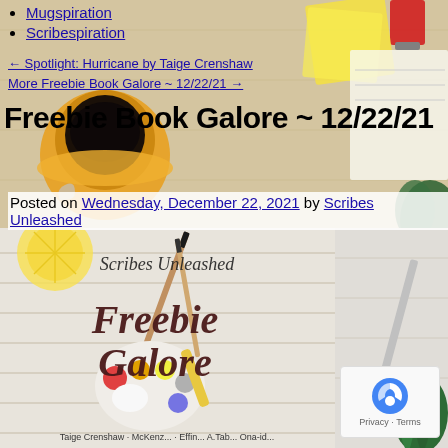Mugspiration
Scribespiration
← Spotlight: Hurricane by Taige Crenshaw
More Freebie Book Galore ~ 12/22/21 →
Freebie Book Galore ~ 12/22/21
Posted on Wednesday, December 22, 2021 by Scribes Unleashed
[Figure (illustration): Scribes Unleashed Freebie Galore promotional image showing art supplies, paint palette, brushes on a light wood surface with cursive text 'Scribes Unleashed Freebie Galore' and author names at the bottom]
[Figure (other): reCAPTCHA badge with Privacy and Terms links]